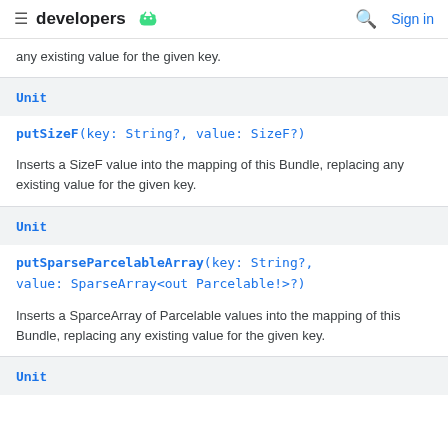developers
any existing value for the given key.
Unit
putSizeF(key: String?, value: SizeF?)
Inserts a SizeF value into the mapping of this Bundle, replacing any existing value for the given key.
Unit
putSparseParcelableArray(key: String?, value: SparseArray<out Parcelable!>?)
Inserts a SparceArray of Parcelable values into the mapping of this Bundle, replacing any existing value for the given key.
Unit